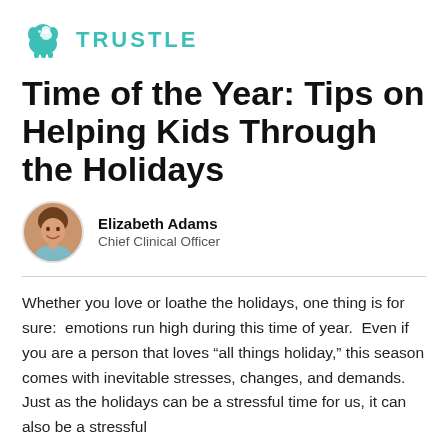[Figure (logo): Trustle logo with teal elephant icon and the word TRUSTLE in teal capital letters]
Time of the Year: Tips on Helping Kids Through the Holidays
[Figure (photo): Circular headshot photo of Elizabeth Adams, a woman with brown hair, smiling]
Elizabeth Adams
Chief Clinical Officer
Whether you love or loathe the holidays, one thing is for sure:  emotions run high during this time of year.  Even if you are a person that loves “all things holiday,” this season comes with inevitable stresses, changes, and demands.  Just as the holidays can be a stressful time for us, it can also be a stressful